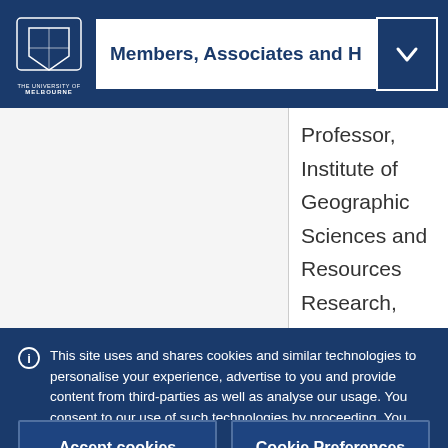Members, Associates and Honorary Fellows
Professor, Institute of Geographic Sciences and Resources Research, Chinese Academy
This site uses and shares cookies and similar technologies to personalise your experience, advertise to you and provide content from third-parties as well as analyse our usage. You consent to our use of such technologies by proceeding. You can change your mind or consent choices at any time. Visit our Privacy Statement for further information.
Accept cookies
Cookie Preferences